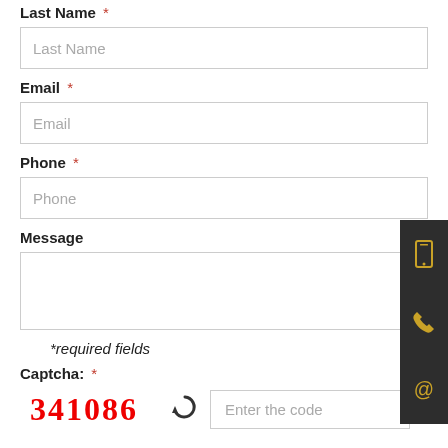Last Name *
Last Name (placeholder)
Email *
Email (placeholder)
Phone *
Phone (placeholder)
Message
*required fields
Captcha: *
341086
Enter the code